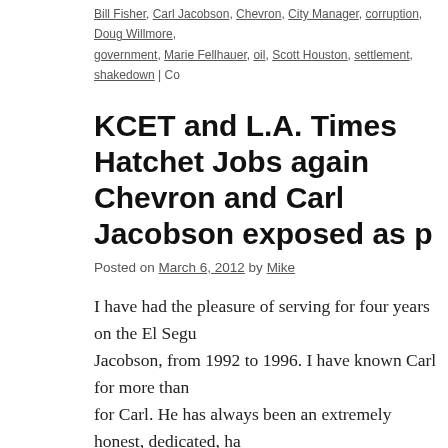Bill Fisher, Carl Jacobson, Chevron, City Manager, corruption, Doug Willmore, government, Marie Fellhauer, oil, Scott Houston, settlement, shakedown | Co…
KCET and L.A. Times Hatchet Jobs against Chevron and Carl Jacobson exposed as p…
Posted on March 6, 2012 by Mike
I have had the pleasure of serving for four years on the El Segundo… Jacobson, from 1992 to 1996. I have known Carl for more than… for Carl. He has always been an extremely honest, dedicated, ha… member of the City Council, giving much of his time and his lif…
KCET producer Karen Fochay and L.A. Times writer Jeff Gottl… because I was a City Council member at the time of the 1994 le… between MRC, Chevron, and the City.
I made it clear to them that the 1994 tax dispute settlement was…